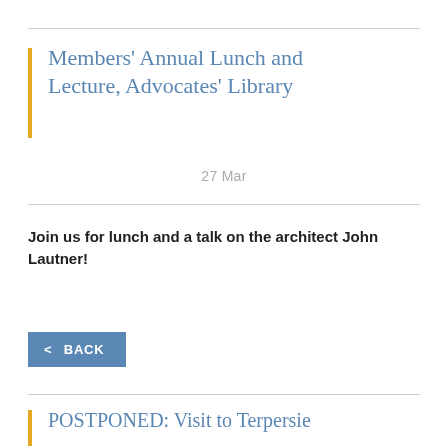Members' Annual Lunch and Lecture, Advocates' Library
27 Mar
Join us for lunch and a talk on the architect John Lautner!
< BACK
POSTPONED: Visit to Terpersie